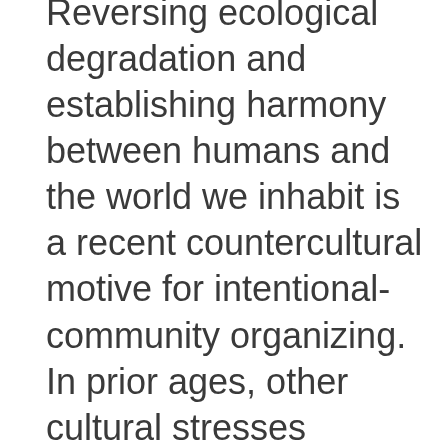Reversing ecological degradation and establishing harmony between humans and the world we inhabit is a recent countercultural motive for intentional-community organizing. In prior ages, other cultural stresses provided the inspiration for the social innovations which subsequently arose within intentional communities. Responding to concerns about the